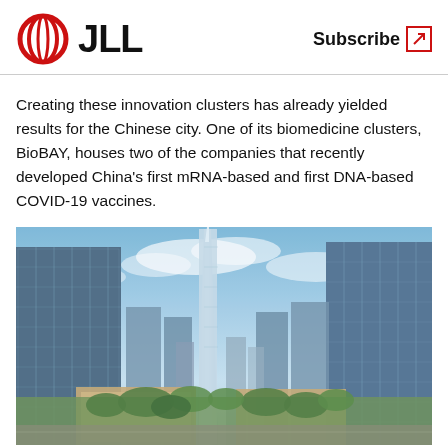JLL | Subscribe
Creating these innovation clusters has already yielded results for the Chinese city. One of its biomedicine clusters, BioBAY, houses two of the companies that recently developed China’s first mRNA-based and first DNA-based COVID-19 vaccines.
[Figure (photo): Aerial view of a modern Chinese city skyline with tall glass skyscrapers, a prominent tower in the center background, lower buildings and green trees in the foreground, under a partly cloudy blue sky.]